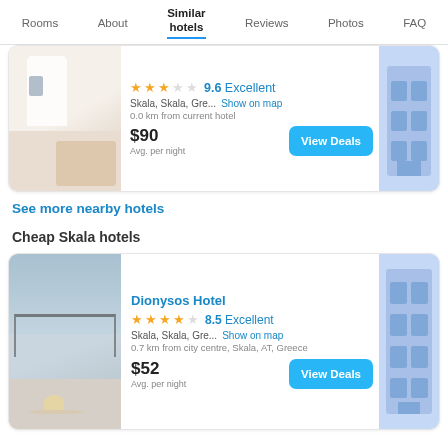Rooms | About | Similar hotels | Reviews | Photos | FAQ
[Figure (photo): Greek white-washed building hotel photo (partial, cropped at top)]
9.6 Excellent
Skala, Skala, Gre...   Show on map
0.0 km from current hotel
$90
Avg. per night
See more nearby hotels
Cheap Skala hotels
[Figure (photo): Hotel balcony with iron railing and fruit bowl on table]
Dionysos Hotel
8.5 Excellent
Skala, Skala, Gre...   Show on map
0.7 km from city centre, Skala, AT, Greece
$52
Avg. per night